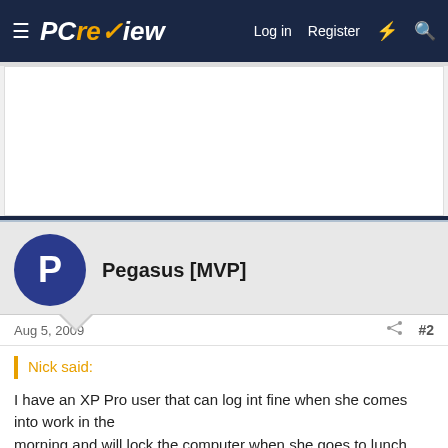PC review — Log in | Register
[Figure (other): Advertisement banner area, white rectangle]
Pegasus [MVP]
Aug 5, 2009  #2
Nick said:

I have an XP Pro user that can log int fine when she comes into work in the morning and will lock the computer when she goes to lunch, but when she comes back from lunch and tries to log it says that the password is